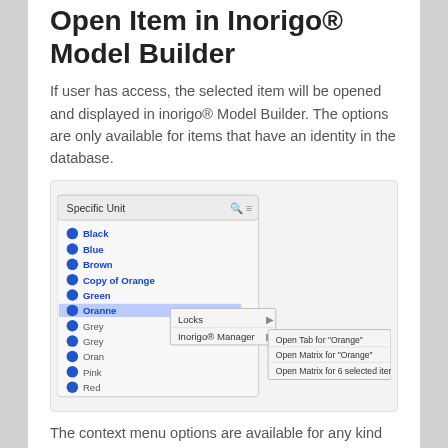Open Item in Inorigo® Model Builder
If user has access, the selected item will be opened and displayed in inorigo® Model Builder. The options are only available for items that have an identity in the database.
[Figure (screenshot): Screenshot of a context menu in inorigo® showing a list of colored items (Black, Blue, Brown, Copy of Orange, Green, Orange highlighted, Grey, Grey, Orange, Pink, Red, Violet, White, Yellow) with a submenu showing 'Locks' and 'Inorigo® Manager' options, and a further submenu with 'Open Tab for "Orange"', 'Open Matrix for "Orange"', 'Open Matrix for 6 selected items'.]
The context menu options are available for any kind of inorigo® item, explicit or implicit selected or not selected at all. The Model